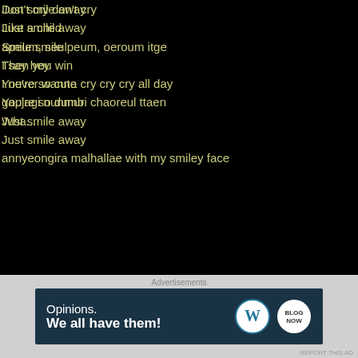Just smile away
Just smile away
apeum, seulpeum, oeroum itge
I say hey
I never wanna cry cry cry all day
gapjagi nunmuri chaoreul ttaen
Just smile away
Just smile away
annyeongira malhallae with my smiley face
Don't cry don't cry
Like a child
Smile smile
Then you win
You're so cute
You're so dumb
Wha...
Advertisements
[Figure (other): WordPress advertisement banner: 'Opinions. We all have them!' with WordPress and Blog Now logos on dark teal background]